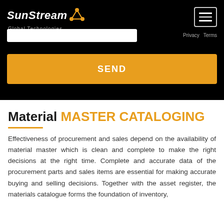[Figure (logo): SunStream Global Technologies logo with orange network/node icon, white italic text on black background]
[Figure (screenshot): Website header UI with hamburger menu button, search input field, Privacy and Terms nav links, and orange SEND button]
Material MASTER CATALOGING
Effectiveness of procurement and sales depend on the availability of material master which is clean and complete to make the right decisions at the right time. Complete and accurate data of the procurement parts and sales items are essential for making accurate buying and selling decisions. Together with the asset register, the materials catalogue forms the foundation of inventory,